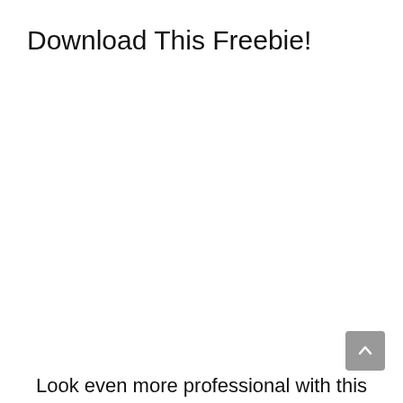Download This Freebie!
Look even more professional with this